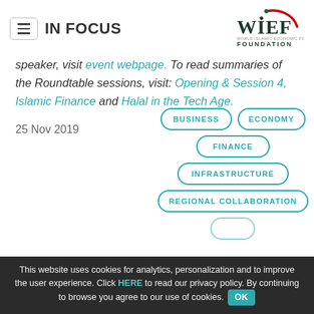IN FOCUS
speaker, visit event webpage. To read summaries of the Roundtable sessions, visit: Opening & Session 4, Islamic Finance and Halal in the Tech Age.
25 Nov 2019
[Figure (infographic): Tag/category pills: BUSINESS, ECONOMY, FINANCE, INFRASTRUCTURE, REGIONAL COLLABORATION]
This website uses cookies for analytics, personalization and to improve the user experience. Click HERE to read our privacy policy. By continuing to browse you agree to our use of cookies. OK